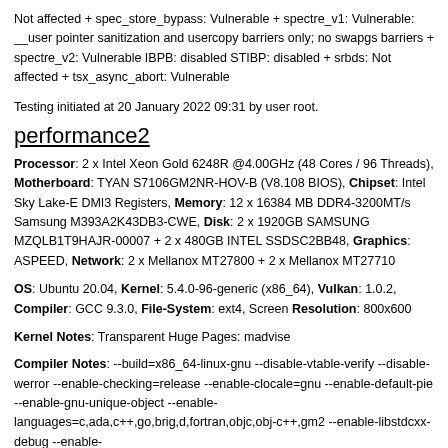Not affected + spec_store_bypass: Vulnerable + spectre_v1: Vulnerable: __user pointer sanitization and usercopy barriers only; no swapgs barriers + spectre_v2: Vulnerable IBPB: disabled STIBP: disabled + srbds: Not affected + tsx_async_abort: Vulnerable
Testing initiated at 20 January 2022 09:31 by user root.
performance2
Processor: 2 x Intel Xeon Gold 6248R @4.00GHz (48 Cores / 96 Threads), Motherboard: TYAN S7106GM2NR-HOV-B (V8.108 BIOS), Chipset: Intel Sky Lake-E DMI3 Registers, Memory: 12 x 16384 MB DDR4-3200MT/s Samsung M393A2K43DB3-CWE, Disk: 2 x 1920GB SAMSUNG MZQLB1T9HAJR-00007 + 2 x 480GB INTEL SSDSC2BB48, Graphics: ASPEED, Network: 2 x Mellanox MT27800 + 2 x Mellanox MT27710
OS: Ubuntu 20.04, Kernel: 5.4.0-96-generic (x86_64), Vulkan: 1.0.2, Compiler: GCC 9.3.0, FileSystem: ext4, Screen Resolution: 800x600
Kernel Notes: Transparent Huge Pages: madvise
Compiler Notes: --build=x86_64-linux-gnu --disable-vtable-verify --disable-werror --enable-checking=release --enable-clocale=gnu --enable-default-pie --enable-gnu-unique-object --enable-languages=c,ada,c++,go,brig,d,fortran,objc,obj-c++,gm2 --enable-libstdcxx-debug --enable-